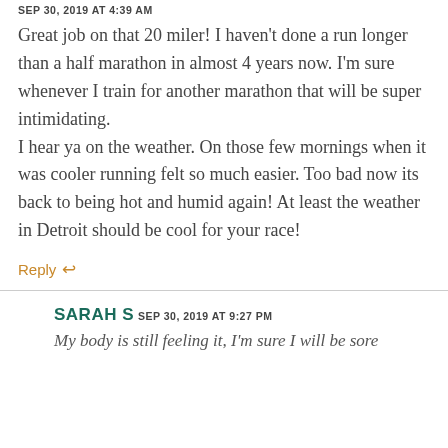SEP 30, 2019 AT 4:39 AM
Great job on that 20 miler! I haven't done a run longer than a half marathon in almost 4 years now. I'm sure whenever I train for another marathon that will be super intimidating.
I hear ya on the weather. On those few mornings when it was cooler running felt so much easier. Too bad now its back to being hot and humid again! At least the weather in Detroit should be cool for your race!
Reply ↩
SARAH S
SEP 30, 2019 AT 9:27 PM
My body is still feeling it, I'm sure I will be sore